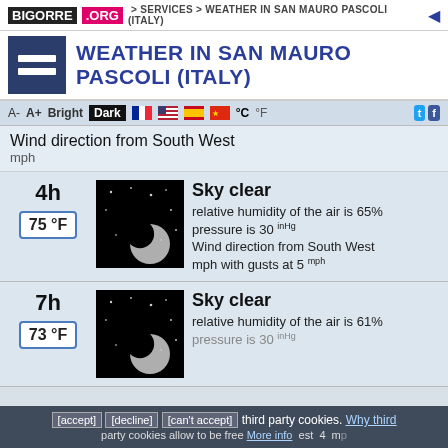BIGORRE .ORG > Services > Weather in San Mauro Pascoli (Italy)
Weather in San Mauro Pascoli (Italy)
Wind direction from South West mph
4h — 75 °F — Sky clear — relative humidity of the air is 65% — pressure is 30 inHg — Wind direction from South West mph with gusts at 5 mph
7h — 73 °F — Sky clear — relative humidity of the air is 61% — pressure is 30 inHg
[accept] [decline] [can't accept] third party cookies. Why third party cookies allow to be free More info